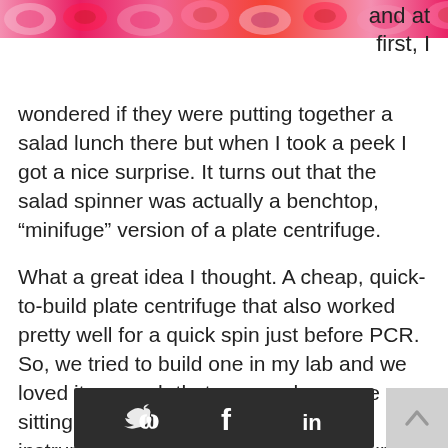[Figure (photo): Close-up photo of pink and red rose petals or similar floral pattern, cropped across the top of the page.]
and at first, I wondered if they were putting together a salad lunch there but when I took a peek I got a nice surprise. It turns out that the salad spinner was actually a benchtop, “minifuge” version of a plate centrifuge.
What a great idea I thought. A cheap, quick-to-build plate centrifuge that also worked pretty well for a quick spin just before PCR. So, we tried to build one in my lab and we loved it so much that we now have one sitting near almost EVERY PCR plate instrument, and have even gifted a couple to
[Figure (infographic): Dark social sharing bar with Twitter (bird), Facebook (f), and LinkedIn (in) icons.]